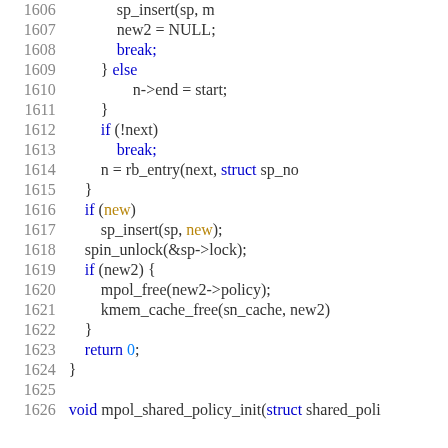[Figure (screenshot): Source code listing in C, lines 1606-1626, showing memory policy management functions with syntax highlighting. Line numbers in gray on left, keywords in blue, identifiers in dark text.]